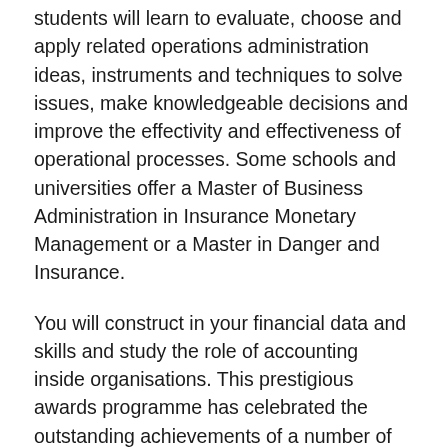students will learn to evaluate, choose and apply related operations administration ideas, instruments and techniques to solve issues, make knowledgeable decisions and improve the effectivity and effectiveness of operational processes. Some schools and universities offer a Master of Business Administration in Insurance Monetary Management or a Master in Danger and Insurance.
You will construct in your financial data and skills and study the role of accounting inside organisations. This prestigious awards programme has celebrated the outstanding achievements of a number of the most outstanding enterprise leaders of our time. Our Business and Finance BA focuses on instructing and training you, as well as making certain you get work placement experience at home or abroad.
As you progress, you'll develop the information and